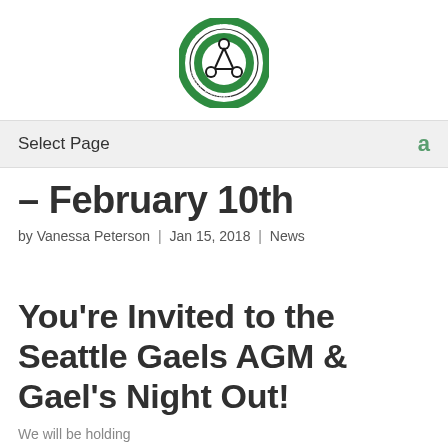[Figure (logo): Seattle Gaels circular logo with green and black colors, Gaelic football club emblem]
Select Page  a
– February 10th
by Vanessa Peterson | Jan 15, 2018 | News
You're Invited to the Seattle Gaels AGM & Gael's Night Out!
We will be holding